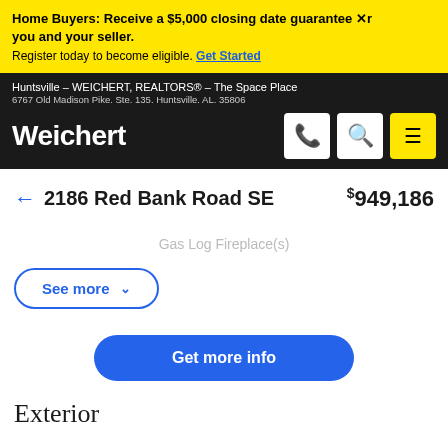Home Buyers: Receive a $5,000 closing date guarantee from you and your seller. Register today to become eligible. Get Started
Huntsville - WEICHERT, REALTORS® - The Space Place
6767 Old Madison Pike. Ste. 135. Huntsville. AL. 35806
2186 Red Bank Road SE  $949,186
Gas Log Fireplace(s)
See more
Get more info
Exterior